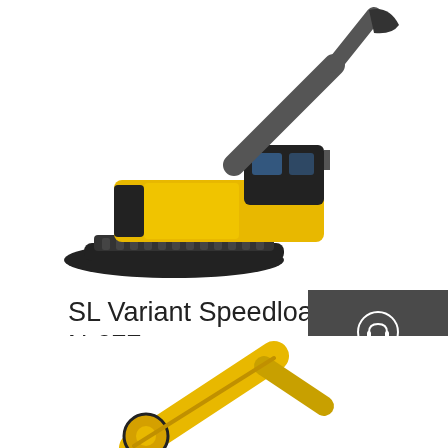[Figure (photo): Yellow and black tracked excavator/crawler machine, partially cropped at top of page]
SL Variant Speedloaders L-272 & N-277
Jun 02, 2012 · WTB: SL Variant Speedloaders for 686+ 7 shot which is model L-272 and for 629 which is model N-277. Last edited by buckslayer5676; Kefid12 at 11:26 PM . buckslayer5676
[Figure (infographic): Dark sidebar panel with Chat, Email, and Contact icons and labels]
[Figure (illustration): Get a quote red button]
[Figure (photo): Yellow construction/excavator equipment partially visible at bottom of page]